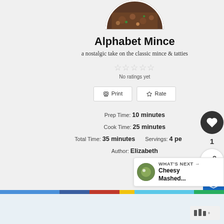[Figure (photo): Circular cropped photo of Alphabet Mince dish in a white bowl, showing pasta and mince with vegetables]
Alphabet Mince
a nostalgic take on the classic mince & tatties
No ratings yet
Print  Rate
Prep Time: 10 minutes
Cook Time: 25 minutes
Total Time: 35 minutes    Servings: 4 people
Author: Elizabeth